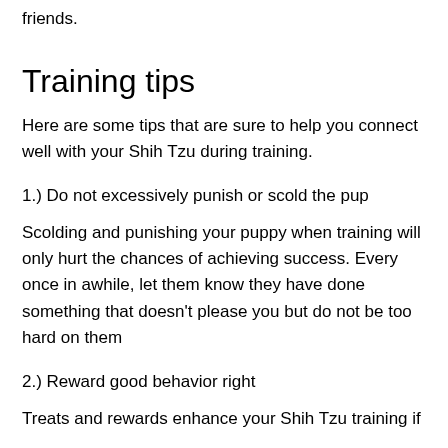friends.
Training tips
Here are some tips that are sure to help you connect well with your Shih Tzu during training.
1.) Do not excessively punish or scold the pup
Scolding and punishing your puppy when training will only hurt the chances of achieving success. Every once in awhile, let them know they have done something that doesn't please you but do not be too hard on them
2.) Reward good behavior right
Treats and rewards enhance your Shih Tzu training if